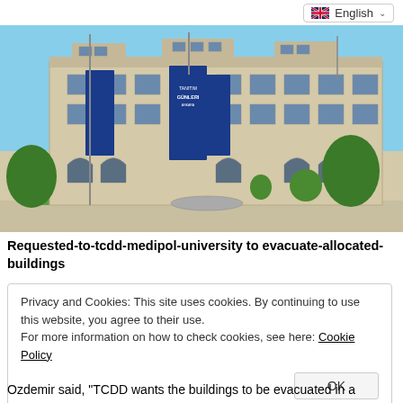[Figure (photo): Photograph of a large multi-story institutional building with beige/cream facade, arched windows on ground floor, flags hanging on the building, trees and green lawn in foreground, blue sky background.]
Requested-to-tcdd-medipol-university to evacuate-allocated-buildings
Privacy and Cookies: This site uses cookies. By continuing to use this website, you agree to their use.
For more information on how to check cookies, see here: Cookie Policy
OK
Ozdemir said, "TCDD wants the buildings to be evacuated in a